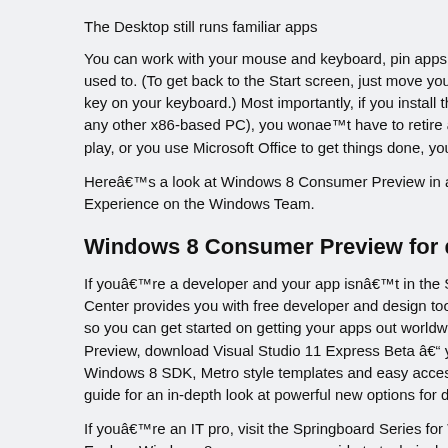The Desktop still runs familiar apps
You can work with your mouse and keyboard, pin apps to the Windows Taskbar like you’re used to. (To get back to the Start screen, just move your mouse to the lower left or press the Windows key on your keyboard.) Most importantly, if you install the Windows 8 Consumer Preview on a tablet (or any other x86-based PC), you won’t have to retire all of the desktop apps you love. Whether you game, play, or you use Microsoft Office to get things done, you can still do it all in Windows 8.
Here’s a look at Windows 8 Consumer Preview in action from Jensen Harris, Director of Program Management for User Experience on the Windows Team.
Windows 8 Consumer Preview for developers and
If you’re a developer and your app isn’t in the Store today, now is the time to act. The Windows Dev Center provides you with free developer and design tools, code samples, technical articles and more, so you can get started on getting your apps out worldwide with the Windows 8 Consumer Preview. To get started with Preview, download Visual Studio 11 Express Beta – your free tool to get started. It includes the Windows 8 SDK, Metro style templates and easy access to Windows 8 APIs. Also, check out our Building Windows 8 guide for an in-depth look at powerful new options for developers.
If you’re an IT pro, visit the Springboard Series for Windows 8 on TechNet. You can also check out Explore Windows 8, your one-page guide to technical overviews and frequently asked questions about Client Hyper-V, DirectAccess, hardware device management, the Windows Store, and more. For additional support to help you test and evaluate Windows 8, make sure to visit the Windows 8 Evaluation Center on TechNet.
More ly g t